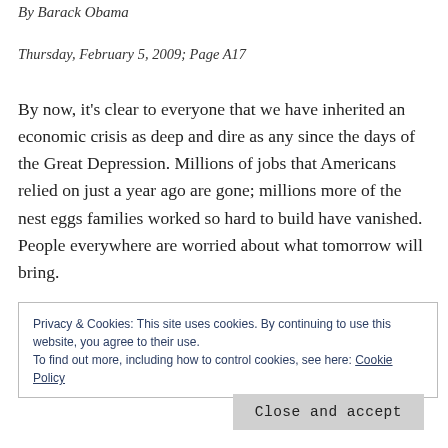By Barack Obama
Thursday, February 5, 2009; Page A17
By now, it's clear to everyone that we have inherited an economic crisis as deep and dire as any since the days of the Great Depression. Millions of jobs that Americans relied on just a year ago are gone; millions more of the nest eggs families worked so hard to build have vanished. People everywhere are worried about what tomorrow will bring.
What Americans expect from Washington is action that
Privacy & Cookies: This site uses cookies. By continuing to use this website, you agree to their use.
To find out more, including how to control cookies, see here: Cookie Policy
Close and accept